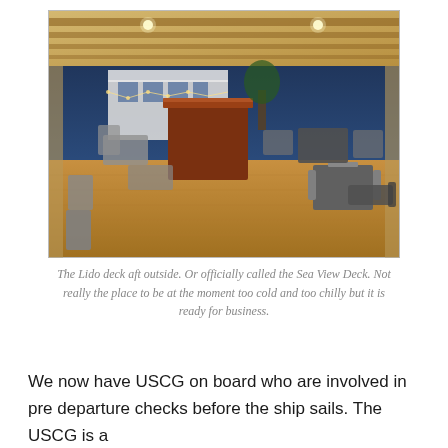[Figure (photo): An outdoor dining area on the Lido deck aft of a cruise ship, photographed at dusk. Tables and chairs are arranged on a wooden deck. A large bar or serving station is visible in the center. Through the open sides of the deck, another ship and the blue evening sky are visible. Recessed lighting illuminates the ceiling with wood-paneled beams.]
The Lido deck aft outside. Or officially called the Sea View Deck. Not really the place to be at the moment too cold and too chilly but it is ready for business.
We now have USCG on board who are involved in pre departure checks before the ship sails. The USCG is a